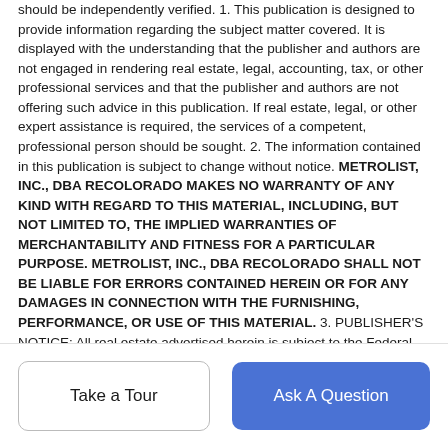should be independently verified. 1. This publication is designed to provide information regarding the subject matter covered. It is displayed with the understanding that the publisher and authors are not engaged in rendering real estate, legal, accounting, tax, or other professional services and that the publisher and authors are not offering such advice in this publication. If real estate, legal, or other expert assistance is required, the services of a competent, professional person should be sought. 2. The information contained in this publication is subject to change without notice. METROLIST, INC., DBA RECOLORADO MAKES NO WARRANTY OF ANY KIND WITH REGARD TO THIS MATERIAL, INCLUDING, BUT NOT LIMITED TO, THE IMPLIED WARRANTIES OF MERCHANTABILITY AND FITNESS FOR A PARTICULAR PURPOSE. METROLIST, INC., DBA RECOLORADO SHALL NOT BE LIABLE FOR ERRORS CONTAINED HEREIN OR FOR ANY DAMAGES IN CONNECTION WITH THE FURNISHING, PERFORMANCE, OR USE OF THIS MATERIAL. 3. PUBLISHER'S NOTICE: All real estate advertised herein is subject to the Federal Fair Housing Act and the Colorado Fair Housing Act, which Acts make it illegal to make or publish any advertisement that indicates any preference, limitation, or discrimination based on race, color, religion, sex, handicap, familial status, or national origin. 4. METROLIST, INC., DBA RECOLORADO will not
Take a Tour
Ask A Question